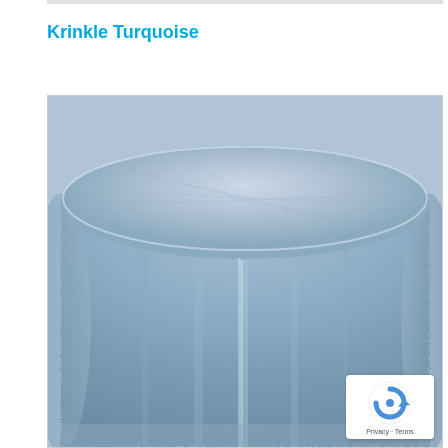Krinkle Turquoise
[Figure (photo): A round table covered with a turquoise/steel-blue krinkle fabric tablecloth, showing the textured crinkled surface draped over a cylindrical table form.]